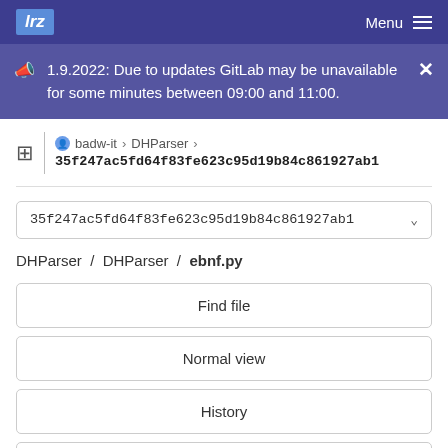lrz  Menu
1.9.2022: Due to updates GitLab may be unavailable for some minutes between 09:00 and 11:00.
badw-it > DHParser > 35f247ac5fd64f83fe623c95d19b84c861927ab1
35f247ac5fd64f83fe623c95d19b84c861927ab1
DHParser / DHParser / ebnf.py
Find file
Normal view
History
Permalink